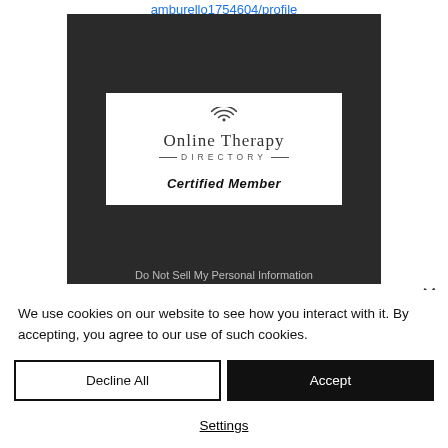amburello1754604/profile
[Figure (logo): Online Therapy Directory Certified Member badge on a dark background with a wifi-style arc icon above the text 'Online Therapy Directory' and 'Certified Member' in bold italic below. Bottom of dark area shows partial text 'Do Not Sell My Personal Information'.]
We use cookies on our website to see how you interact with it. By accepting, you agree to our use of such cookies.
Decline All
Accept
Settings